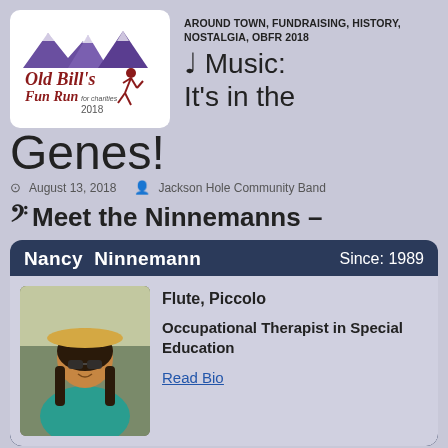[Figure (logo): Old Bill's Fun Run for charities 2018 logo with mountain scene and runner silhouette]
AROUND TOWN, FUNDRAISING, HISTORY, NOSTALGIA, OBFR 2018
♩ Music: It's in the Genes!
© August 13, 2018   Jackson Hole Community Band
𝄢 Meet the Ninnemanns –
| Nancy  Ninnemann | Since: 1989 |
| --- | --- |
| Flute, Piccolo
Occupational Therapist in Special Education
Read Bio |  |
[Figure (photo): Woman wearing straw hat and sunglasses, smiling, in a teal shirt outdoors]